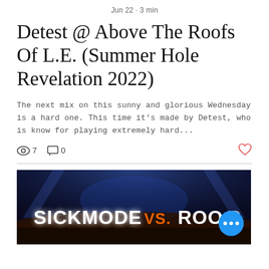Jun 22 · 3 min
Detest @ Above The Roofs Of L.E. (Summer Hole Revelation 2022)
The next mix on this sunny and glorious Wednesday is a hard one. This time it's made by Detest, who is know for playing extremely hard...
views: 7, comments: 0, like
[Figure (photo): Concert stage photo with 'SICKMODE VS. ROOFTOP' text overlay, large crowd, blue stage lighting, with a blue circular more-options button in the bottom right]